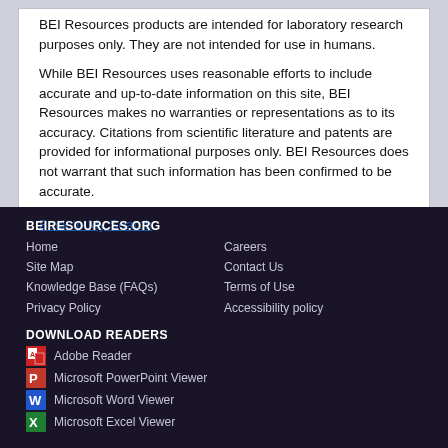BEI Resources products are intended for laboratory research purposes only. They are not intended for use in humans.
While BEI Resources uses reasonable efforts to include accurate and up-to-date information on this site, BEI Resources makes no warranties or representations as to its accuracy. Citations from scientific literature and patents are provided for informational purposes only. BEI Resources does not warrant that such information has been confirmed to be accurate.
Back to My Search
BEIRESOURCES.ORG
Home
Site Map
Knowledge Base (FAQs)
Privacy Policy
Careers
Contact Us
Terms of Use
Accessibility policy
DOWNLOAD READERS
Adobe Reader
Microsoft PowerPoint Viewer
Microsoft Word Viewer
Microsoft Excel Viewer